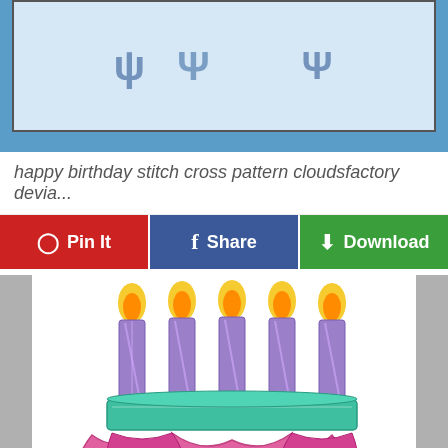[Figure (photo): Top portion of a cross stitch pattern on light blue background with dark border, showing partial text characters on a light blue/white grid background]
happy birthday stitch cross pattern cloudsfactory devia...
[Figure (infographic): Button bar with three buttons: red Pin It button with Pinterest icon, blue Share button with Facebook icon, green Download button with download icon]
[Figure (photo): Birthday cake cross stitch pattern showing a cake with five lit candles on top, pink decorative ribbons/bows on the sides, on white background with gray strips on left and right edges]